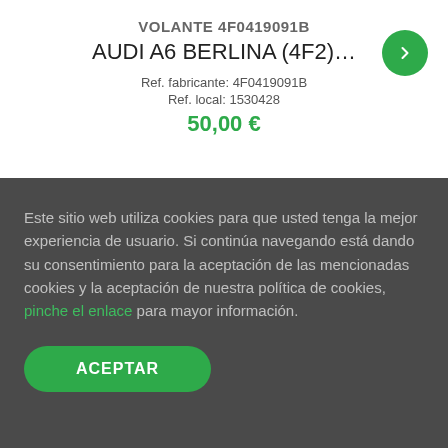VOLANTE 4F0419091B
AUDI A6 BERLINA (4F2)…
Ref. fabricante: 4F0419091B
Ref. local: 1530428
50,00 €
Este sitio web utiliza cookies para que usted tenga la mejor experiencia de usuario. Si continúa navegando está dando su consentimiento para la aceptación de las mencionadas cookies y la aceptación de nuestra política de cookies, pinche el enlace para mayor información.
ACEPTAR